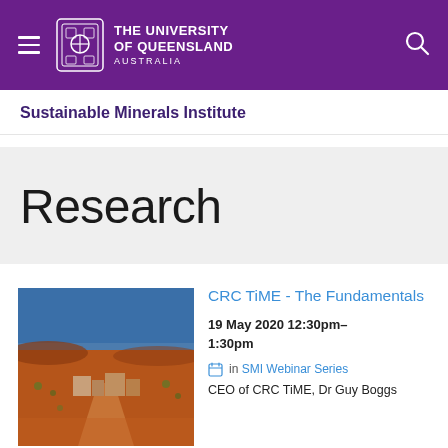The University of Queensland Australia
Sustainable Minerals Institute
Research
[Figure (photo): Aerial or landscape photograph of a mining site in an arid red-earth environment with buildings, roads and sparse vegetation under a clear blue sky]
CRC TiME - The Fundamentals
19 May 2020 12:30pm–1:30pm
in SMI Webinar Series
CEO of CRC TiME, Dr Guy Boggs